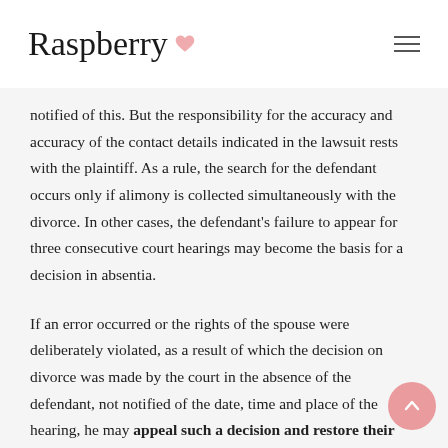Raspberry
notified of this. But the responsibility for the accuracy and accuracy of the contact details indicated in the lawsuit rests with the plaintiff. As a rule, the search for the defendant occurs only if alimony is collected simultaneously with the divorce. In other cases, the defendant's failure to appear for three consecutive court hearings may become the basis for a decision in absentia.
If an error occurred or the rights of the spouse were deliberately violated, as a result of which the decision on divorce was made by the court in the absence of the defendant, not notified of the date, time and place of the hearing, he may appeal such a decision and restore their own rights to directly participate in the divorce